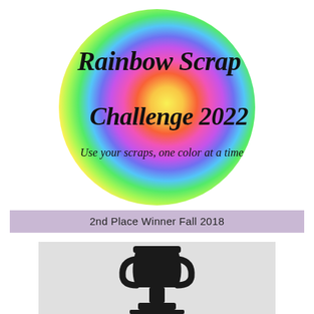[Figure (logo): Rainbow Scrap Challenge 2022 circular logo with rainbow gradient (purple, blue, green, yellow, orange, red, pink) and text 'Rainbow Scrap Challenge 2022' and 'Use your scraps, one color at a time']
2nd Place Winner Fall 2018
[Figure (photo): Partial black and white photo of a trophy or award figure, only top portion visible]